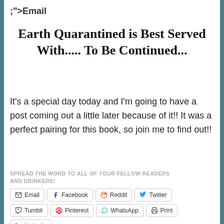;">Email
Earth Quarantined is Best Served With..... To Be Continued...
It's a special day today and I'm going to have a post coming out a little later because of it!! It was a perfect pairing for this book, so join me to find out!!
SPREAD THE WORD TO ALL OF YOUR FELLOW READERS AND DRINKERS!
Email | Facebook | Reddit | Twitter | Tumblr | Pinterest | WhatsApp | Print | LinkedIn
★ Like
Loading...
35 bloggers like this.